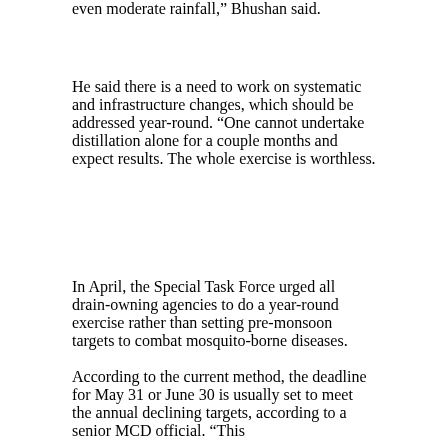even moderate rainfall,” Bhushan said.
He said there is a need to work on systematic and infrastructure changes, which should be addressed year-round. “One cannot undertake distillation alone for a couple months and expect results. The whole exercise is worthless.
In April, the Special Task Force urged all drain-owning agencies to do a year-round exercise rather than setting pre-monsoon targets to combat mosquito-borne diseases.
According to the current method, the deadline for May 31 or June 30 is usually set to meet the annual declining targets, according to a senior MCD official. “This